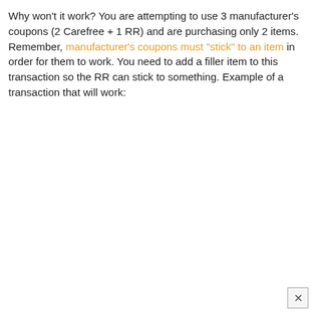Why won't it work? You are attempting to use 3 manufacturer's coupons (2 Carefree + 1 RR) and are purchasing only 2 items. Remember, manufacturer's coupons must "stick" to an item in order for them to work. You need to add a filler item to this transaction so the RR can stick to something. Example of a transaction that will work: